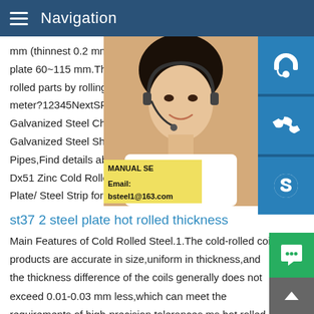Navigation
mm (thinnest 0.2 mm),thick steel plate 4~6 plate 60~115 mm.The steel plate is divided rolled parts by rolling.Q:How much is a ste meter?12345NextSPCC Dx51 Zinc Cold R Galvanized Steel China SPCC Dx51 Zinc Galvanized Steel Sheet/Steel Plate/ Steel Pipes,Find details about China Steel She Dx51 Zinc Cold Rolled/Hot Dipped Galvan Plate/ Steel Strip for Structure Pipes
st37 2 steel plate hot rolled thickness
Main Features of Cold Rolled Steel.1.The cold-rolled coil products are accurate in size,uniform in thickness,and the thickness difference of the coils generally does not exceed 0.01-0.03 mm less,which can meet the requirements of high-precision tolerances.ms hot rolled steel sheet,ms cold rolled steel plate